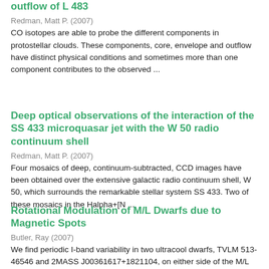outflow of L 483
Redman, Matt P. (2007)
CO isotopes are able to probe the different components in protostellar clouds. These components, core, envelope and outflow have distinct physical conditions and sometimes more than one component contributes to the observed ...
Deep optical observations of the interaction of the SS 433 microquasar jet with the W 50 radio continuum shell
Redman, Matt P. (2007)
Four mosaics of deep, continuum-subtracted, CCD images have been obtained over the extensive galactic radio continuum shell, W 50, which surrounds the remarkable stellar system SS 433. Two of these mosaics in the Halpha+[N ...
Rotational Modulation of M/L Dwarfs due to Magnetic Spots
Butler, Ray (2007)
We find periodic I-band variability in two ultracool dwarfs, TVLM 513-46546 and 2MASS J00361617+1821104, on either side of the M/L dwarf boundary. Both of these targets are short-period radio transients, with the detected ...